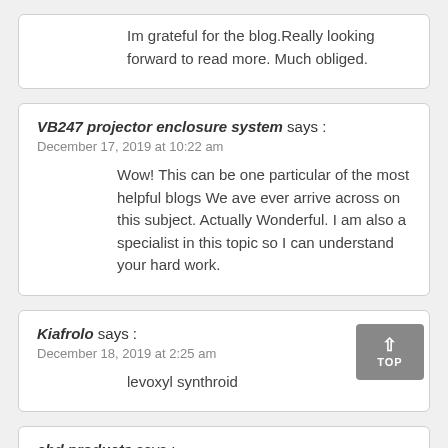Im grateful for the blog.Really looking forward to read more. Much obliged.
VB247 projector enclosure system says : December 17, 2019 at 10:22 am
Wow! This can be one particular of the most helpful blogs We ave ever arrive across on this subject. Actually Wonderful. I am also a specialist in this topic so I can understand your hard work.
Kiafrolo says : December 18, 2019 at 2:25 am
levoxyl synthroid
cbd products says :